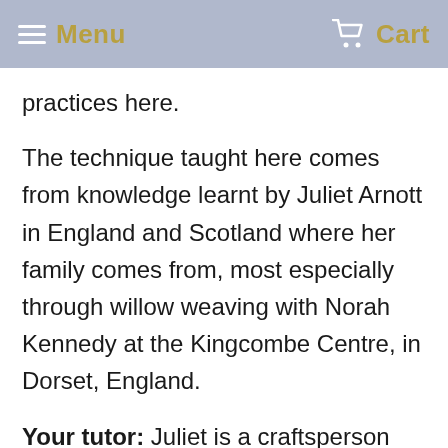Menu  Cart
practices here.
The technique taught here comes from knowledge learnt by Juliet Arnott in England and Scotland where her family comes from, most especially through willow weaving with Norah Kennedy at the Kingcombe Centre, in Dorset, England.
Your tutor: Juliet is a craftsperson and occupational therapist. She founded Rekindle in 2010 after years